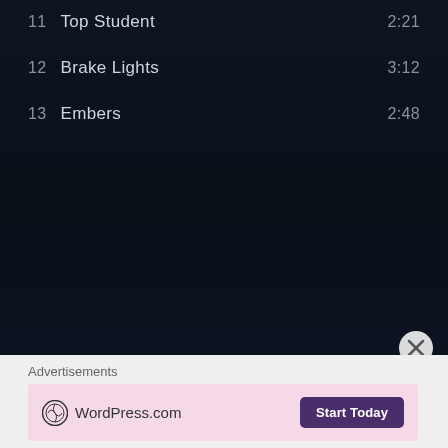11  Top Student  2:21
12  Brake Lights  3:12
13  Embers  2:48
Advertisements
[Figure (other): WordPress.com advertisement banner with logo and 'Start Today' button on pink background]